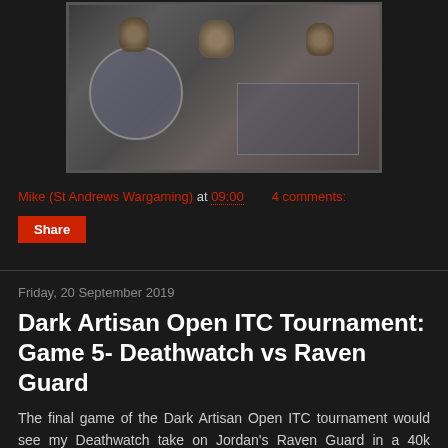[Figure (photo): Overhead view of painted miniature wargaming figures on a grey battlefield surface]
Mike (St Andrews Wargaming) at 09:00    4 comments:
Share
Friday, 20 September 2019
Dark Artisan Open ITC Tournament: Game 5- Deathwatch vs Raven Guard
The final game of the Dark Artisan Open ITC tournament would see my Deathwatch take on Jordan's Raven Guard in a 40k maelstrom of war battle report.